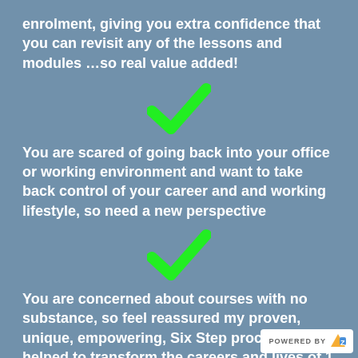enrolment, giving you extra confidence that you can revisit any of the lessons and modules ...so real value added!
[Figure (illustration): Green checkmark icon]
You are scared of going back into your office or working environment and want to take back control of your career and and working lifestyle, so need a new perspective
[Figure (illustration): Green checkmark icon]
You are concerned about courses with no substance, so feel reassured my proven, unique, empowering, Six Step process has helped to transform the careers and lives of 1...